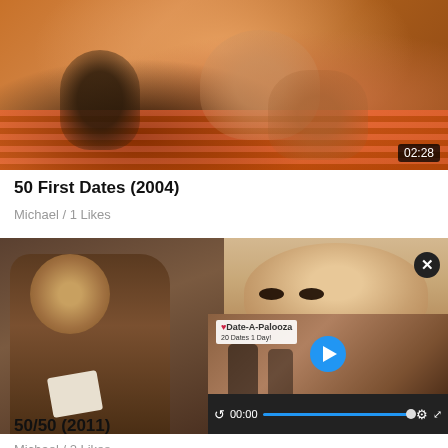[Figure (screenshot): Thumbnail image for movie '50 First Dates (2004)' showing people on a picnic blanket, with a time badge showing 02:28]
50 First Dates (2004)
Michael  /  1 Likes
[Figure (screenshot): Thumbnail image for movie '50/50 (2011)' showing two men, one with curly hair and one bald, with a video player overlay showing 'Date-A-Palooza' and controls at 00:00]
50/50 (2011)
Michael  /  2 Likes